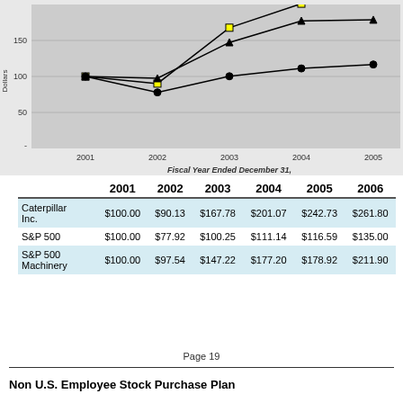[Figure (line-chart): Fiscal Year Ended December 31,]
|  | 2001 | 2002 | 2003 | 2004 | 2005 | 2006 |
| --- | --- | --- | --- | --- | --- | --- |
| Caterpillar Inc. | $100.00 | $90.13 | $167.78 | $201.07 | $242.73 | $261.80 |
| S&P 500 | $100.00 | $77.92 | $100.25 | $111.14 | $116.59 | $135.00 |
| S&P 500 Machinery | $100.00 | $97.54 | $147.22 | $177.20 | $178.92 | $211.90 |
Page 19
Non U.S. Employee Stock Purchase Plan